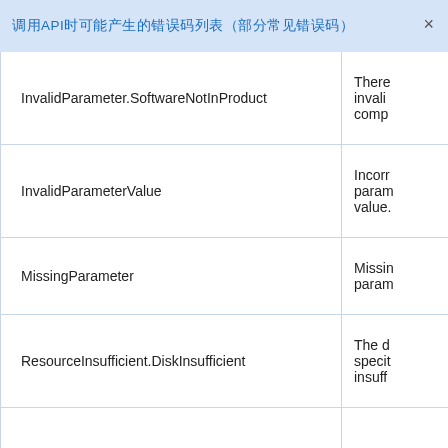调用API时可能产生的错误码列表（部分常见错误码）
|  |  |
| --- | --- |
| InvalidParameter.SoftwareNotInProduct | There invalid comp |
| InvalidParameterValue | Incorr param value. |
| MissingParameter | Missin param |
| ResourceInsufficient.DiskInsufficient | The d speci insuff |
|  | The n speci |